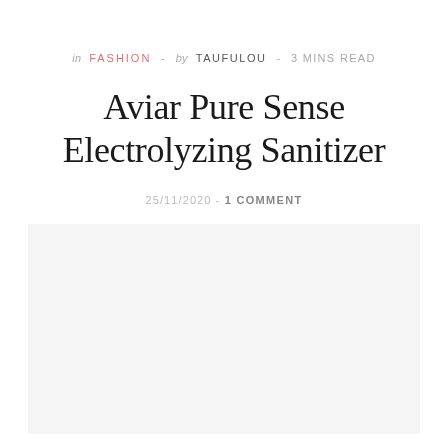in FASHION - by TAUFULOU - 3 MINS READ
Aviar Pure Sense Electrolyzing Sanitizer
25/11/2020 - 1 COMMENT
[Figure (photo): Large light gray placeholder image area]